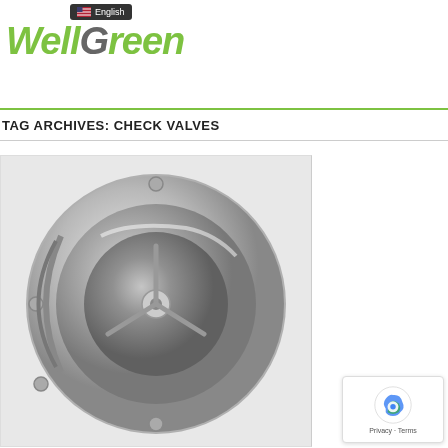WellGreen — English
TAG ARCHIVES: CHECK VALVES
[Figure (photo): Stainless steel check valve, wafer-type, shown from the front revealing the internal spider/disc assembly and flanged body. Monochrome product photograph.]
[Figure (logo): reCAPTCHA badge with robot icon and Privacy - Terms text]